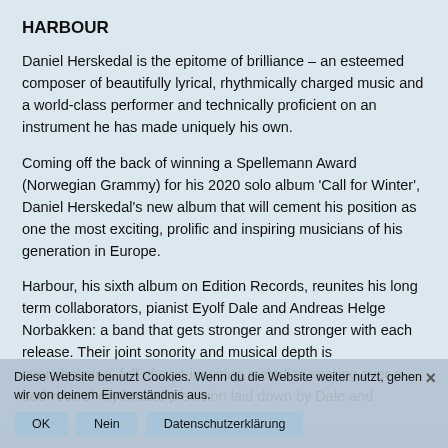HARBOUR
Daniel Herskedal is the epitome of brilliance – an esteemed composer of beautifully lyrical, rhythmically charged music and a world-class performer and technically proficient on an instrument he has made uniquely his own.
Coming off the back of winning a Spellemann Award (Norwegian Grammy) for his 2020 solo album 'Call for Winter', Daniel Herskedal's new album that will cement his position as one the most exciting, prolific and inspiring musicians of his generation in Europe.
Harbour, his sixth album on Edition Records, reunites his long term collaborators, pianist Eyolf Dale and Andreas Helge Norbakken: a band that gets stronger and stronger with each release. Their joint sonority and musical depth is overwhelming, full of awe-inspiring melodies soaring over a bed-rock of rhythmical precision laid down by Dale and
Diese Website benutzt Cookies. Wenn du die Website weiter nutzt, gehen wir von deinem Einverständnis aus.